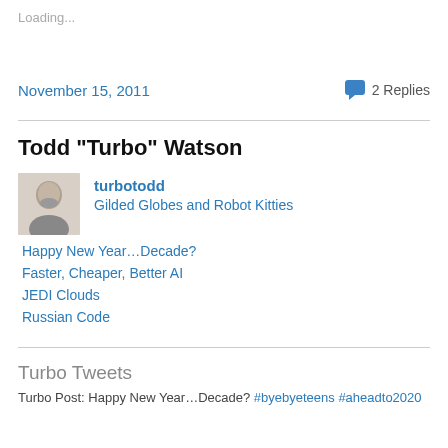Loading...
November 15, 2011
2 Replies
Todd "Turbo" Watson
turbotodd
Gilded Globes and Robot Kitties
Happy New Year…Decade?
Faster, Cheaper, Better AI
JEDI Clouds
Russian Code
Turbo Tweets
Turbo Post: Happy New Year…Decade? #byebyeteens #aheadto2020